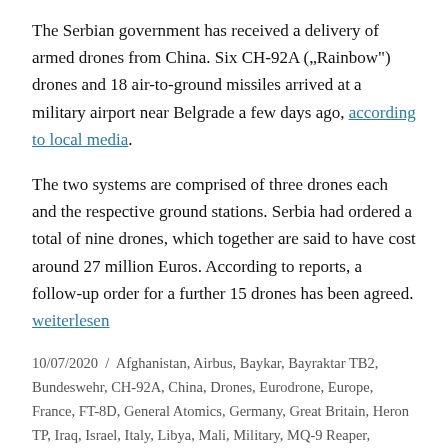The Serbian government has received a delivery of armed drones from China. Six CH-92A ("Rainbow") drones and 18 air-to-ground missiles arrived at a military airport near Belgrade a few days ago, according to local media.
The two systems are comprised of three drones each and the respective ground stations. Serbia had ordered a total of nine drones, which together are said to have cost around 27 million Euros. According to reports, a follow-up order for a further 15 drones has been agreed. weiterlesen
10/07/2020 / Afghanistan, Airbus, Baykar, Bayraktar TB2, Bundeswehr, CH-92A, China, Drones, Eurodrone, Europe, France, FT-8D, General Atomics, Germany, Great Britain, Heron TP, Iraq, Israel, Italy, Libya, Mali, Military, MQ-9 Reaper, Netherlands, Niger, PEGASUS, Predator, Rainbow, Serbia,